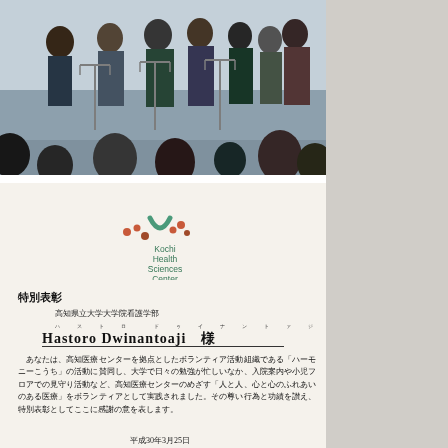[Figure (photo): Group photo of people at what appears to be a ceremony or event, some standing at music stands, indoors]
[Figure (logo): Kochi Health Sciences Center logo with decorative circular marks and text]
特別表彰
高知県立大学大学院看護学部
Hastoro Dwinantoaji　様
あなたは、高知医療センターを拠点としたボランティア活動組織である「ハーモニーこうち」の活動に賛同し、大学で日々の勉強が忙しいなか、入院案内や小児フロアでの見守り活動など、高知医療センターのめざす「人と人、心と心のふれあいのある医療」をボランティアとして実践されました。その尊い行為と功績を讃え、特別表彰としてここに感謝の意を表します。
平成30年3月25日